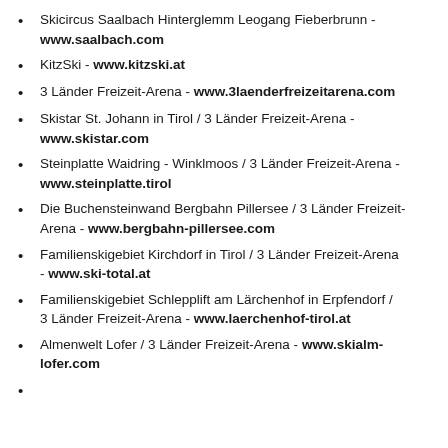Skicircus Saalbach Hinterglemm Leogang Fieberbrunn - www.saalbach.com
KitzSki - www.kitzski.at
3 Länder Freizeit-Arena - www.3laenderfreizeitarena.com
Skistar St. Johann in Tirol / 3 Länder Freizeit-Arena - www.skistar.com
Steinplatte Waidring - Winklmoos / 3 Länder Freizeit-Arena - www.steinplatte.tirol
Die Buchensteinwand Bergbahn Pillersee / 3 Länder Freizeit-Arena - www.bergbahn-pillersee.com
Familienskigebiet Kirchdorf in Tirol / 3 Länder Freizeit-Arena - www.ski-total.at
Familienskigebiet Schlepplift am Lärchenhof in Erpfendorf / 3 Länder Freizeit-Arena - www.laerchenhof-tirol.at
Almenwelt Lofer / 3 Länder Freizeit-Arena - www.skialm-lofer.com
...